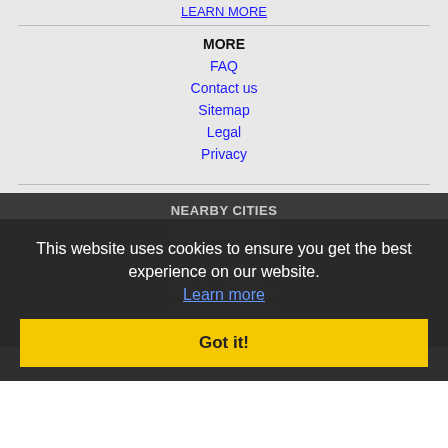LEARN MORE
MORE
FAQ
Contact us
Sitemap
Legal
Privacy
NEARBY CITIES
Arlington, MA Jobs
Attleboro, MA Jobs
Braintree, MA Jobs
Billerica, MA Jobs
Brockton, MA Jobs
Brookline, MA Jobs
This website uses cookies to ensure you get the best experience on our website.
Learn more
Got it!